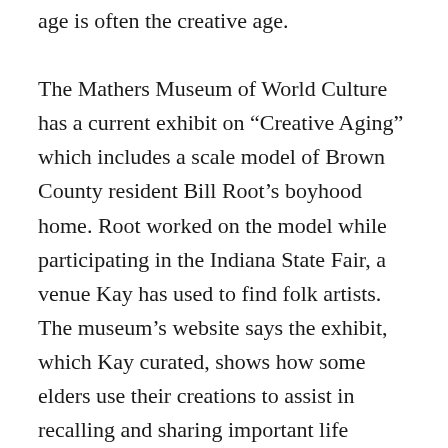age is often the creative age. The Mathers Museum of World Culture has a current exhibit on “Creative Aging” which includes a scale model of Brown County resident Bill Root’s boyhood home. Root worked on the model while participating in the Indiana State Fair, a venue Kay has used to find folk artists. The museum’s website says the exhibit, which Kay curated, shows how some elders use their creations to assist in recalling and sharing important life stories and are often part of social interactions or storytelling events. Among other artists in the exhibit are Columbus woodcarver Bob Taylor. The exhibit runs through July 27. Kay 51...